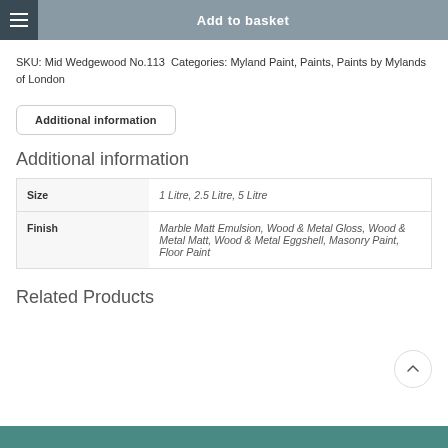Add to basket
SKU: Mid Wedgewood No.113 Categories: Myland Paint, Paints, Paints by Mylands of London
Additional information
Additional information
|  |  |
| --- | --- |
| Size | 1 Litre, 2.5 Litre, 5 Litre |
| Finish | Marble Matt Emulsion, Wood & Metal Gloss, Wood & Metal Matt, Wood & Metal Eggshell, Masonry Paint, Floor Paint |
Related Products